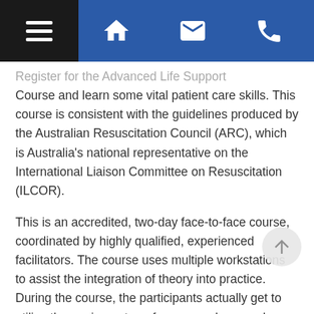Navigation bar with hamburger menu, home, email, and phone icons
Register for the Advanced Life Support Course and learn some vital patient care skills. This course is consistent with the guidelines produced by the Australian Resuscitation Council (ARC), which is Australia's national representative on the International Liaison Committee on Resuscitation (ILCOR).
This is an accredited, two-day face-to-face course, coordinated by highly qualified, experienced facilitators. The course uses multiple workstations to assist the integration of theory into practice. During the course, the participants actually get to utilise the equipment, perform procedures and manage the arrest scenarios themselves.